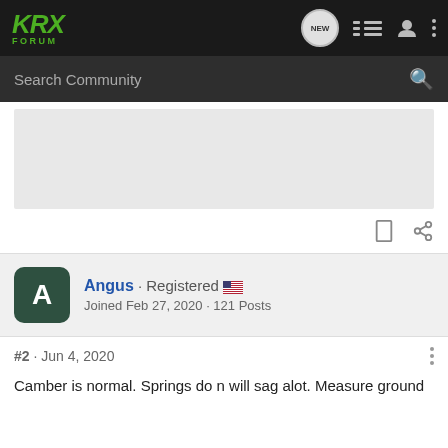[Figure (logo): KRX Forum logo in green on dark background nav bar with icons for new posts, list, user, and menu]
Search Community
[Figure (photo): Gray advertisement or image placeholder area]
Angus · Registered 🇺🇸
Joined Feb 27, 2020 · 121 Posts
#2 · Jun 4, 2020
Camber is normal. Springs do n will sag alot. Measure ground